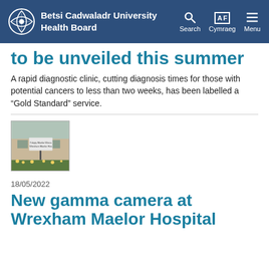Betsi Cadwaladr University Health Board
to be unveiled this summer
A rapid diagnostic clinic, cutting diagnosis times for those with potential cancers to less than two weeks, has been labelled a “Gold Standard” service.
[Figure (photo): Photograph of Wrexham Maelor Hospital exterior sign reading ‘Ysbyty Maelor Wrecsam / Wrexham Maelor Hospital’]
18/05/2022
New gamma camera at Wrexham Maelor Hospital